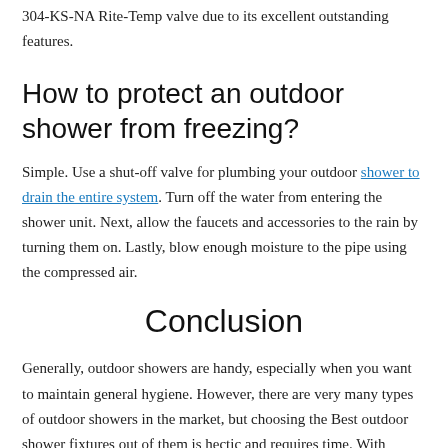304-KS-NA Rite-Temp valve due to its excellent outstanding features.
How to protect an outdoor shower from freezing?
Simple. Use a shut-off valve for plumbing your outdoor shower to drain the entire system. Turn off the water from entering the shower unit. Next, allow the faucets and accessories to the rain by turning them on. Lastly, blow enough moisture to the pipe using the compressed air.
Conclusion
Generally, outdoor showers are handy, especially when you want to maintain general hygiene. However, there are very many types of outdoor showers in the market, but choosing the Best outdoor shower fixtures out of them is hectic and requires time. With